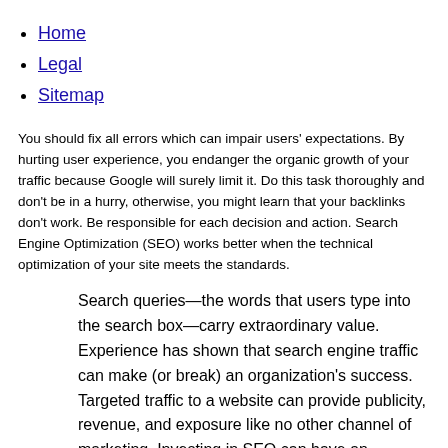Home
Legal
Sitemap
You should fix all errors which can impair users' expectations. By hurting user experience, you endanger the organic growth of your traffic because Google will surely limit it. Do this task thoroughly and don't be in a hurry, otherwise, you might learn that your backlinks don't work. Be responsible for each decision and action. Search Engine Optimization (SEO) works better when the technical optimization of your site meets the standards.
Search queries—the words that users type into the search box—carry extraordinary value. Experience has shown that search engine traffic can make (or break) an organization's success. Targeted traffic to a website can provide publicity, revenue, and exposure like no other channel of marketing. Investing in SEO can have an exceptional rate of return compared to other types of marketing and promotion.